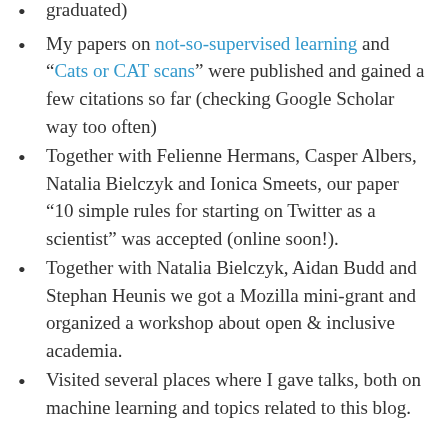graduated)
My papers on not-so-supervised learning and “Cats or CAT scans” were published and gained a few citations so far (checking Google Scholar way too often)
Together with Felienne Hermans, Casper Albers, Natalia Bielczyk and Ionica Smeets, our paper “10 simple rules for starting on Twitter as a scientist” was accepted (online soon!).
Together with Natalia Bielczyk, Aidan Budd and Stephan Heunis we got a Mozilla mini-grant and organized a workshop about open & inclusive academia.
Visited several places where I gave talks, both on machine learning and topics related to this blog.